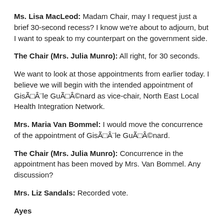Ms. Lisa MacLeod: Madam Chair, may I request just a brief 30-second recess? I know we're about to adjourn, but I want to speak to my counterpart on the government side.
The Chair (Mrs. Julia Munro): All right, for 30 seconds.
We want to look at those appointments from earlier today. I believe we will begin with the intended appointment of Gisèle Guénard as vice-chair, North East Local Health Integration Network.
Mrs. Maria Van Bommel: I would move the concurrence of the appointment of Gisèle Guénard.
The Chair (Mrs. Julia Munro): Concurrence in the appointment has been moved by Mrs. Van Bommel. Any discussion?
Mrs. Liz Sandals: Recorded vote.
Ayes